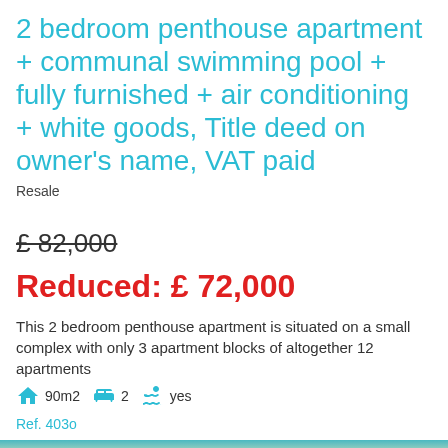2 bedroom penthouse apartment + communal swimming pool + fully furnished + air conditioning + white goods, Title deed on owner's name, VAT paid
Resale
£ 82,000
Reduced: £ 72,000
This 2 bedroom penthouse apartment is situated on a small complex with only 3 apartment blocks of altogether 12 apartments
90m2  2  yes
Ref. 403o
[Figure (photo): Outdoor photo showing palm tree and blue sky, bottom strip]